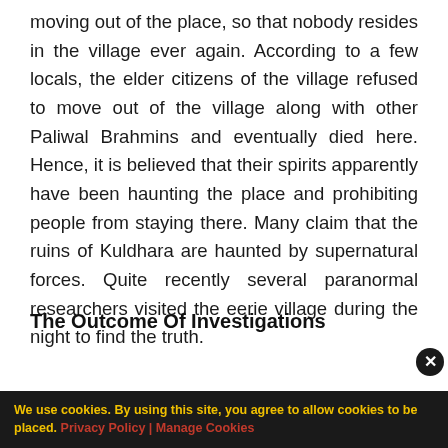moving out of the place, so that nobody resides in the village ever again. According to a few locals, the elder citizens of the village refused to move out of the village along with other Paliwal Brahmins and eventually died here. Hence, it is believed that their spirits apparently have been haunting the place and prohibiting people from staying there. Many claim that the ruins of Kuldhara are haunted by supernatural forces. Quite recently several paranormal researchers visited the eerie village during the night to find the truth.
The Outcome Of Investigations
We use cookies. By using this site, you agree to allow cookies to be placed. Privacy Policy | Manage Cookies